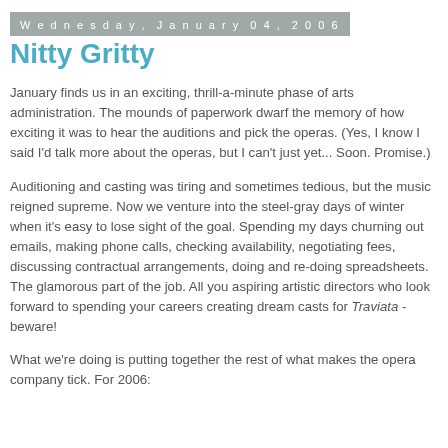Wednesday, January 04, 2006
Nitty Gritty
January finds us in an exciting, thrill-a-minute phase of arts administration. The mounds of paperwork dwarf the memory of how exciting it was to hear the auditions and pick the operas. (Yes, I know I said I'd talk more about the operas, but I can't just yet... Soon. Promise.)
Auditioning and casting was tiring and sometimes tedious, but the music reigned supreme. Now we venture into the steel-gray days of winter when it's easy to lose sight of the goal. Spending my days churning out emails, making phone calls, checking availability, negotiating fees, discussing contractual arrangements, doing and re-doing spreadsheets. The glamorous part of the job. All you aspiring artistic directors who look forward to spending your careers creating dream casts for Traviata - beware!
What we're doing is putting together the rest of what makes the opera company tick. For 2006: